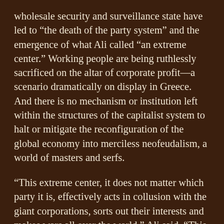wholesale security and surveillance state have led to “the death of the party system” and the emergence of what Ali called “an extreme center.” Working people are being ruthlessly sacrificed on the altar of corporate profit—a scenario dramatically on display in Greece. And there is no mechanism or institution left within the structures of the capitalist system to halt or mitigate the reconfiguration of the global economy into merciless neofeudalism, a world of masters and serfs.
“This extreme center, it does not matter which party it is, effectively acts in collusion with the giant corporations, sorts out their interests and makes wars all over the world,” Ali said. “This extreme center extends throughout the Western world. This is why more and more young people are washing their hands of the democratic system as it exists. All this is a direct result of saying to people after the collapse of the Soviet Union, ‘There is no alternative.’ ”
The battle between popular will and the demands of corporate oligarchs, as they plunge greater and greater